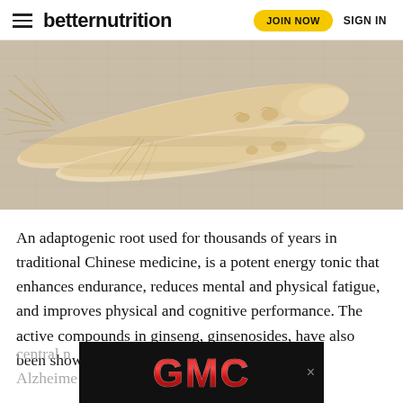betternutrition | JOIN NOW | SIGN IN
[Figure (photo): Two ginseng roots with long fibrous tendrils laid on a light gray linen fabric background]
An adaptogenic root used for thousands of years in traditional Chinese medicine, is a potent energy tonic that enhances endurance, reduces mental and physical fatigue, and improves physical and cognitive performance. The active compounds in ginseng, ginsenosides, have also been shown to impact the central [nervous system and may help with] Alzheimer [disease and other neurological]
[Figure (logo): GMC logo advertisement overlay — red metallic GMC letters on black background]